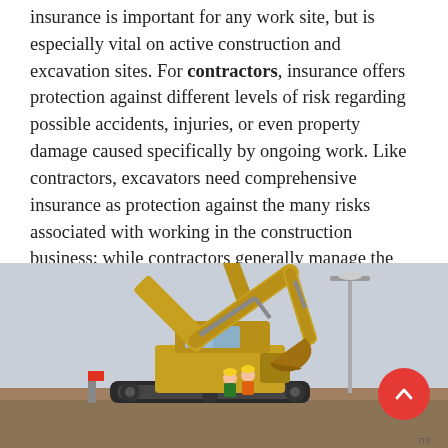insurance is important for any work site, but is especially vital on active construction and excavation sites. For contractors, insurance offers protection against different levels of risk regarding possible accidents, injuries, or even property damage caused specifically by ongoing work. Like contractors, excavators need comprehensive insurance as protection against the many risks associated with working in the construction business; while contractors generally manage the oversight of a construction project, excavators are exposed to a range of potentially hazardous situations involving underground digging, heavy machinery, cranes, and sometimes even explosives.
[Figure (photo): A yellow excavator/crawler machine on a construction site, with workers in safety vests visible near it, a light pole in the background, and a red scroll-to-top button overlaid in the bottom right corner.]